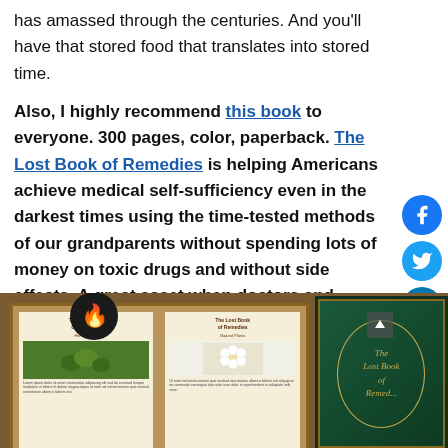has amassed through the centuries. And you'll have that stored food that translates into stored time.
Also, I highly recommend this book to everyone. 300 pages, color, paperback. The Lost Book of Remedies is helping Americans achieve medical self-sufficiency even in the darkest times using the time-tested methods of our grandparents without spending lots of money on toxic drugs and without side effects. A great asset when doctors and hospitals won't be available anymore. You may not be Claude Davis, but you can make use of his procedures and techniques to increase your chances of survival!
[Figure (photo): Photo of an open book showing herbal remedy pages alongside a dark green hardcover book titled 'The Lost Book of Remedies']